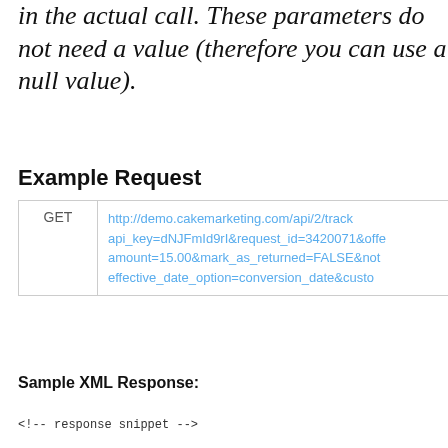in the actual call. These parameters do not need a value (therefore you can use a null value).
Example Request
|  |  |
| --- | --- |
| GET | http://demo.cakemarketing.com/api/2/track api_key=dNJFmId9rI&request_id=3420071&offe amount=15.00&mark_as_returned=FALSE&not effective_date_option=conversion_date&custo |
Sample XML Response: